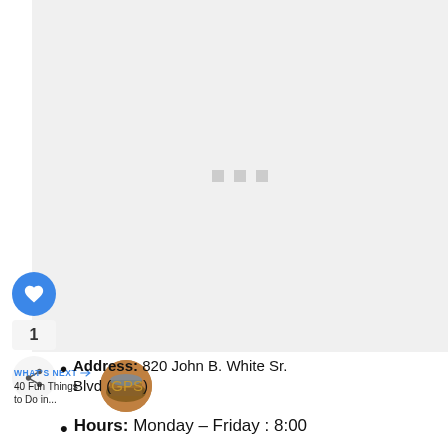[Figure (other): Loading placeholder image area with three small grey squares centered on a light grey background]
[Figure (other): Blue heart/favorite button with count '1' and a share button below it]
WHAT'S NEXT → 40 Fun Things to Do in...
[Figure (photo): Small circular thumbnail photo of a landscape/city scene]
Address: 820 John B. White Sr. Blvd (GPS)
Hours: Monday – Friday : 8:00